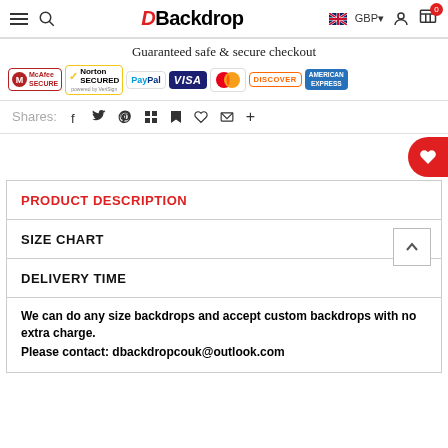DBackdrop — GBP — Cart 0
[Figure (infographic): Guaranteed safe & secure checkout banner with payment logos: McAfee SECURE, Norton SECURED powered by VeriSign, PayPal, VISA, Mastercard, DISCOVER, AMERICAN EXPRESS]
Shares:
PRODUCT DESCRIPTION
SIZE CHART
DELIVERY TIME
We can do any size backdrops and accept custom backdrops with no extra charge.
Please contact: dbackdropcouk@outlook.com